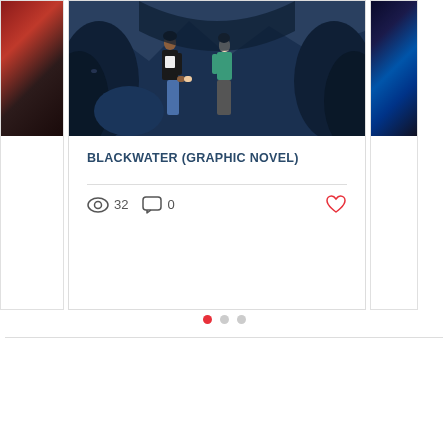[Figure (screenshot): Center card showing illustrated graphic novel cover art: two characters (one dark-skinned in black jacket, one pale in teal sweater) standing in a dark forest/cave environment with blue-purple foliage background]
BLACKWATER (GRAPHIC NOVEL)
32 views, 0 comments, heart/like button
[Figure (infographic): Three carousel navigation dots: first dot is red/active, second and third are grey/inactive]